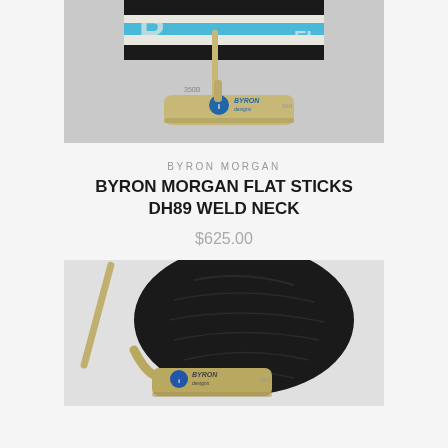[Figure (photo): Byron Morgan Flat Sticks DH89 Weld Neck putter with colorful blue and white headcover, showing the putter head with 'Byron designs' branding and '350B' marking on a grey background]
BYRON MORGAN
BYRON MORGAN FLAT STICKS DH89 WELD NECK
$625.00
[Figure (photo): Close-up of Byron Morgan putter with black leather headcover, showing 'Byron designs' branding on putter neck, '999' marking, on white background]